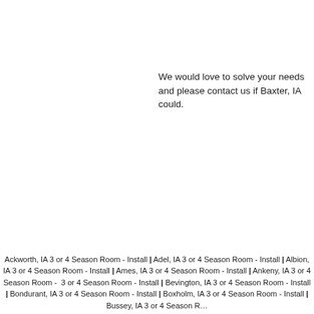We would love to solve your needs and please contact us if Baxter, IA could.
Ackworth, IA 3 or 4 Season Room - Install | Adel, IA 3 or 4 Season Room - Install | Albion, IA 3 or 4 Season Room - Install | Ames, IA 3 or 4 Season Room - Install | Ankeny, IA 3 or 4 Season Room - Install | Baxter, IA 3 or 4 Season Room - Install | Bevington, IA 3 or 4 Season Room - Install | Bondurant, IA 3 or 4 Season Room - Install | Boxholm, IA 3 or 4 Season Room - Install | Bussey, IA 3 or 4 Season Room - Install